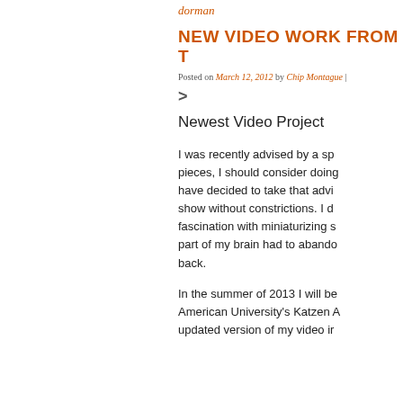dorman
NEW VIDEO WORK FROM T
Posted on March 12, 2012 by Chip Montague |
>
Newest Video Project
I was recently advised by a sp- pieces, I should consider doing have decided to take that advi- show without constrictions. I d fascination with miniaturizing s- part of my brain had to abando- back.
In the summer of 2013 I will be American University's Katzen A updated version of my video ir